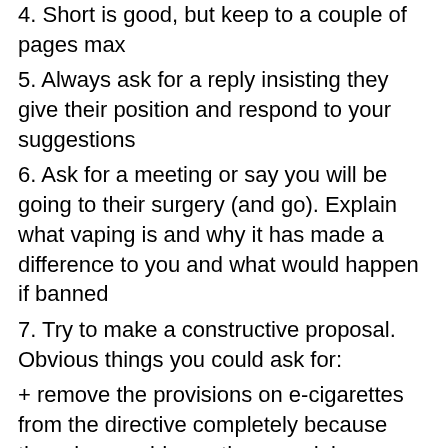4. Short is good, but keep to a couple of pages max
5. Always ask for a reply insisting they give their position and respond to your suggestions
6. Ask for a meeting or say you will be going to their surgery (and go). Explain what vaping is and why it has made a difference to you and what would happen if banned
7. Try to make a constructive proposal. Obvious things you could ask for:
+ remove the provisions on e-cigarettes from the directive completely because there is no evidence they are doing any harm and plenty that for you they are doing some good
+ a 2-3 year delay in bringing the provisions on e-cigs into effect (at present greater than 4mg/ml products would come under medical regulation immediately – a delay would give the manufacturers